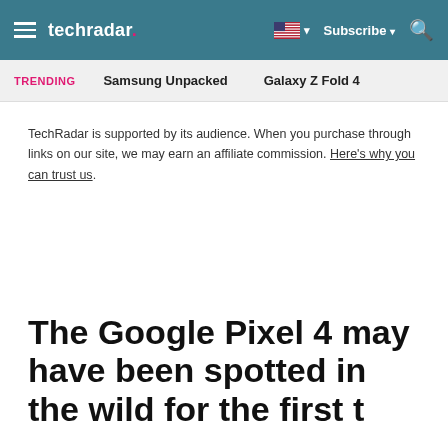techradar  Subscribe
TRENDING  Samsung Unpacked  Galaxy Z Fold 4
TechRadar is supported by its audience. When you purchase through links on our site, we may earn an affiliate commission. Here's why you can trust us.
The Google Pixel 4 may have been spotted in the wild for the first time